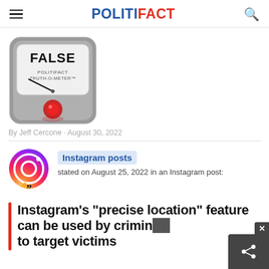POLITIFACT
[Figure (illustration): PolitiFact Truth-O-Meter gauge showing FALSE rating, with a red indicator light at the bottom and needle pointing to the far left.]
By Jeff Cercone · August 30, 2022
[Figure (logo): Instagram logo icon with gradient colors (purple, red, orange)]
Instagram posts stated on August 25, 2022 in an Instagram post:
Instagram's "precise location" feature can be used by criminals to target victims